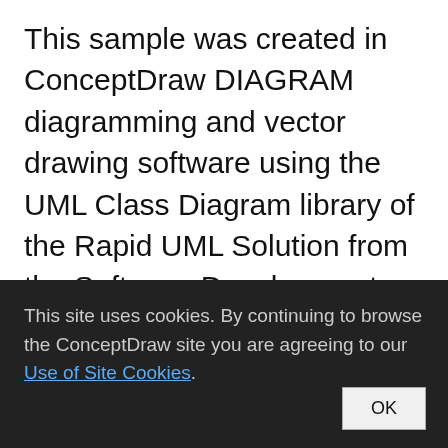This sample was created in ConceptDraw DIAGRAM diagramming and vector drawing software using the UML Class Diagram library of the Rapid UML Solution from the Software Development area of ConceptDraw Solution Park. This sample describes the use of the classes, the generalization associations between them, the multiplicity of associations and constraints. Provided UML diagram is one of the examples set that are
This site uses cookies. By continuing to browse the ConceptDraw site you are agreeing to our Use of Site Cookies.